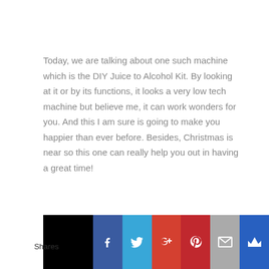Today, we are talking about one such machine which is the DIY Juice to Alcohol Kit. By looking at it or by its functions, it looks a very low tech machine but believe me, it can work wonders for you. And this I am sure is going to make you happier than ever before. Besides, Christmas is near so this one can really help you out in having a great time!
[Figure (photo): Photo of DIY Juice to Alcohol Kit product showing 'How to Spike' book/packaging with orange label and a glass container on black background]
Shares | Facebook | Twitter | Google+ | Pinterest | Email | Crown